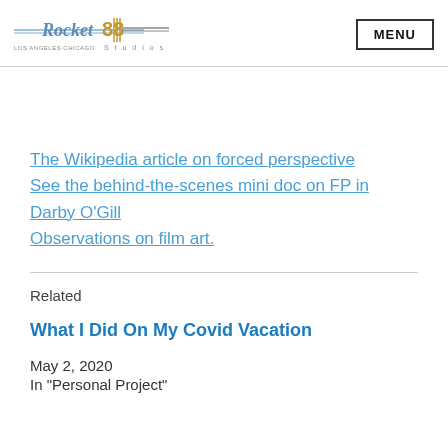Rocket 88 Studios | LOS ANGELES·CHICAGO·Studios | MENU
The Wikipedia article on forced perspective
See the behind-the-scenes mini doc on FP in Darby O'Gill
Observations on film art.
Related
What I Did On My Covid Vacation
May 2, 2020
In "Personal Project"